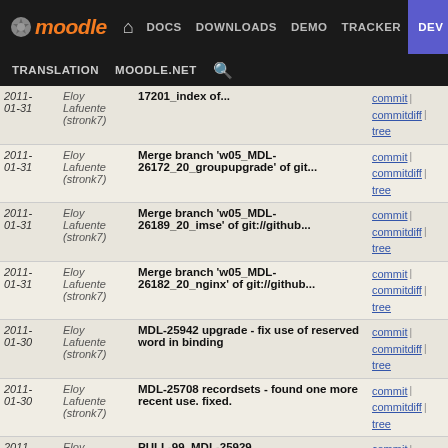Moodle navigation bar: DOCS DOWNLOADS DEMO TRACKER DEV | TRANSLATION MOODLE.NET
| Date | Author | Commit Message | Links |
| --- | --- | --- | --- |
| 2011-01-31 | Eloy Lafuente (stronk7) | 17201_index of... | commit | commitdiff | tree |
| 2011-01-31 | Eloy Lafuente (stronk7) | Merge branch 'w05_MDL-26172_20_groupupgrade' of git... | commit | commitdiff | tree |
| 2011-01-31 | Eloy Lafuente (stronk7) | Merge branch 'w05_MDL-26189_20_imse' of git://github... | commit | commitdiff | tree |
| 2011-01-31 | Eloy Lafuente (stronk7) | Merge branch 'w05_MDL-26182_20_nginx' of git://github... | commit | commitdiff | tree |
| 2011-01-30 | Eloy Lafuente (stronk7) | MDL-25942 upgrade - fix use of reserved word in binding | commit | commitdiff | tree |
| 2011-01-30 | Eloy Lafuente (stronk7) | MDL-25708 recordsets - found one more recent use. fixed. | commit | commitdiff | tree |
| 2011-01-24 | Eloy Lafuente (stronk7) | PULL-99, MDL-25929 progresstrackedroles out. Fixed... | commit | commitdiff | tree |
| 2011-01-24 | Eloy Lafuente (stronk7) | NOBUG: Fix whitespace | commit | commitdiff | tree |
| 2011- | Eloy Lafuente (stronk7) | Merge branch 'wip-MDL-26044' of | commit | commitdiff |